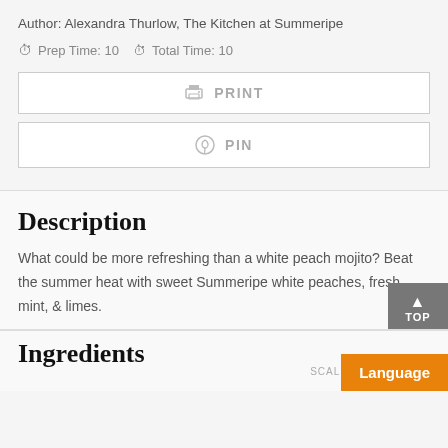Author: Alexandra Thurlow, The Kitchen at Summeripe
Prep Time: 10  Total Time: 10
PRINT
PIN
Description
What could be more refreshing than a white peach mojito? Beat the summer heat with sweet Summeripe white peaches, fresh mint, & limes.
Ingredients
SCALE
Language